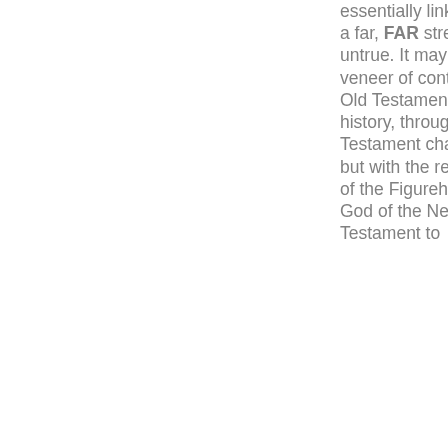essentially linked. This is a far, FAR stretch: and is untrue. It may give some veneer of continuity from Old Testament patriarchal history, through New Testament characters – but with the reassignment of the Figurehead and God of the New Testament to